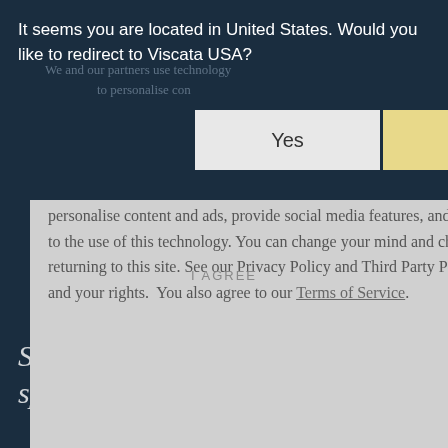It seems you are located in United States. Would you like to redirect to Viscata USA?
Yes
No
We and our partners use technology to personalise content and ads, provide social media features, and analyze our traffic. Click below to consent to the use of this technology. You can change your mind and change your consent choices at anytime by returning to this site. See our Privacy Policy and Third Party Partners to learn more about the use of data and your rights. You also agree to our Terms of Service.
I AGREE
Subscribe now to get updates, special offers and more.